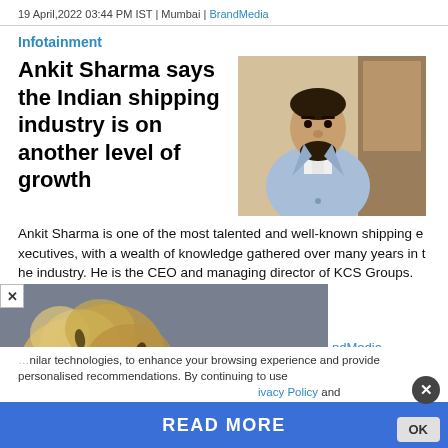19 April,2022 03:44 PM IST | Mumbai | BrandMedia
Infotainment
Ankit Sharma says the Indian shipping industry is on another level of growth
[Figure (photo): Portrait photo of Ankit Sharma in a light blue blazer, seated indoors]
Ankit Sharma is one of the most talented and well-known shipping executives, with a wealth of knowledge gathered over many years in the industry. He is the CEO and managing director of KCS Groups.
[Figure (screenshot): Popup video overlay showing an explosion/dust cloud scene with a close button (x) in the top-left corner and BrandMedia label visible]
...nilar technologies, to enhance your browsing experience and provide personalised recommendations. By continuing to use
ivacy Policy and
READ MORE
on Newz Online